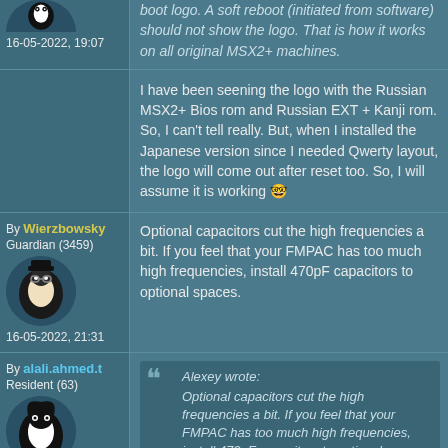boot logo. A soft reboot (initiated from software) should not show the logo. That is how it works on all original MSX2+ machines.
16-05-2022, 19:07
I have been seening the logo with the Russian MSX2+ Bios rom and Russian EXT + Kanji rom. So, I can't tell really. But, when I installed the Japanese version since I needed Qwerty layout, the logo will come out after reset too. So, I will assume it is working 🤓
By Wierzbowsky
Guardian (3459)
16-05-2022, 21:31
Optional capacitors cut the high frequencies a bit. If you feel that your FMPAC has too much high frequencies, install 470pF capacitors to optional spaces.
By alali.ahmed.t
Resident (63)
17-05-2022, 05:53
Alexey wrote: Optional capacitors cut the high frequencies a bit. If you feel that your FMPAC has too much high frequencies, install 470pF capacitors to optional spaces.
Alright, Thanx for the explanation.